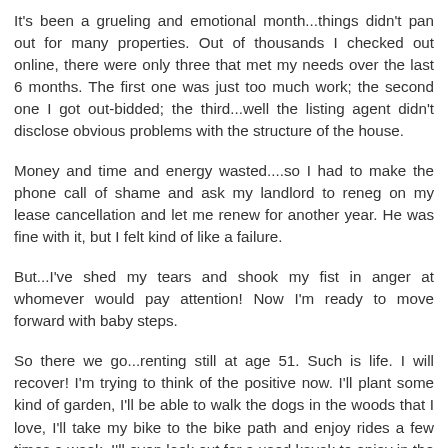It's been a grueling and emotional month...things didn't pan out for many properties. Out of thousands I checked out online, there were only three that met my needs over the last 6 months. The first one was just too much work; the second one I got out-bidded; the third...well the listing agent didn't disclose obvious problems with the structure of the house.
Money and time and energy wasted....so I had to make the phone call of shame and ask my landlord to reneg on my lease cancellation and let me renew for another year. He was fine with it, but I felt kind of like a failure.
But...I've shed my tears and shook my fist in anger at whomever would pay attention! Now I'm ready to move forward with baby steps.
So there we go...renting still at age 51. Such is life. I will recover! I'm trying to think of the positive now. I'll plant some kind of garden, I'll be able to walk the dogs in the woods that I love, I'll take my bike to the bike path and enjoy rides a few times a week, I'll even look out for a used kayak to enjoy in the nearby lake.